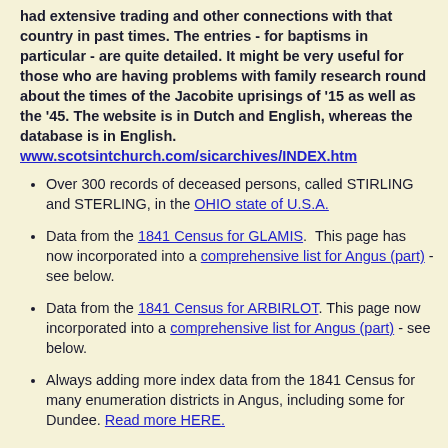had extensive trading and other connections with that country in past times. The entries - for baptisms in particular - are quite detailed. It might be very useful for those who are having problems with family research round about the times of the Jacobite uprisings of '15 as well as the '45. The website is in Dutch and English, whereas the database is in English. www.scotsintchurch.com/sicarchives/INDEX.htm
Over 300 records of deceased persons, called STIRLING and STERLING, in the OHIO state of U.S.A.
Data from the 1841 Census for GLAMIS. This page has now incorporated into a comprehensive list for Angus (part) - see below.
Data from the 1841 Census for ARBIRLOT. This page now incorporated into a comprehensive list for Angus (part) - see below.
Always adding more index data from the 1841 Census for many enumeration districts in Angus, including some for Dundee. Read more HERE.